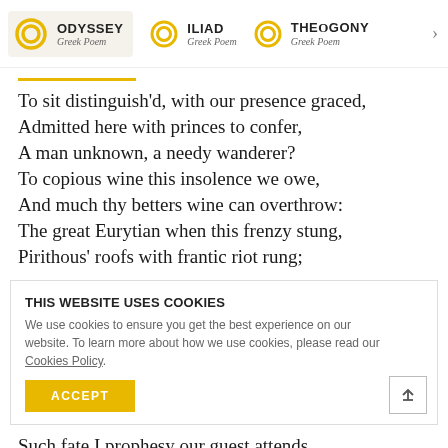ODYSSEY Greek Poem | ILIAD Greek Poem | THEOGONY Greek Poem
To sit distinguish'd, with our presence graced,
Admitted here with princes to confer,
A man unknown, a needy wanderer?
To copious wine this insolence we owe,
And much thy betters wine can overthrow:
The great Eurytian when this frenzy stung,
Pirithous' roofs with frantic riot rung;
THIS WEBSITE USES COOKIES
We use cookies to ensure you get the best experience on our website. To learn more about how we use cookies, please read our Cookies Policy.
ACCEPT
Such fate I prophesy our guest attends,